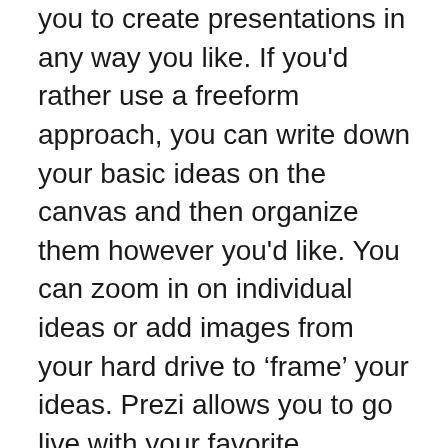you to create presentations in any way you like. If you'd rather use a freeform approach, you can write down your basic ideas on the canvas and then organize them however you'd like. You can zoom in on individual ideas or add images from your hard drive to 'frame' your ideas. Prezi allows you to go live with your favorite videoconferencing tools when you are ready to give a live presentation.
In addition, Prezi supports groups of collaborators. You can collaborate with friends and colleagues on a presentation. You can also give permission to others to edit and present work-in-progress. Once you give permission to others, their initials will appear on the screen or slide. Those who don't have